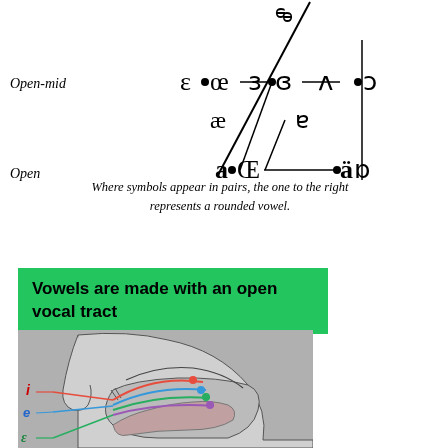[Figure (schematic): IPA vowel chart showing open-mid and open rows with phonetic symbols connected by lines and dots. Symbols include ɛ, œ, ɜ, ɞ, ʌ, ɔ, æ, ɐ, a, Œ (OE ligature), ä, ɒ, and schwa variants at the top.]
Where symbols appear in pairs, the one to the right represents a rounded vowel.
Vowels are made with an open vocal tract
[Figure (illustration): Cross-section diagram of the human vocal tract showing tongue positions for vowels i, e, and ɛ with colored arcs and labeled points.]